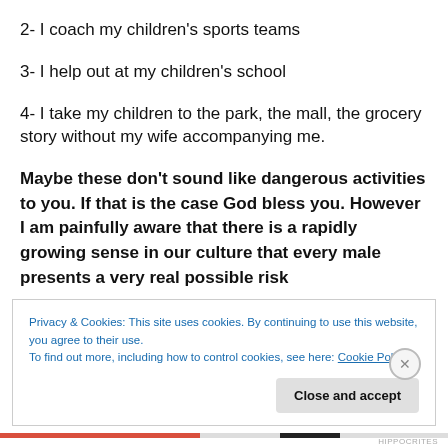2- I coach my children's sports teams
3- I help out at my children's school
4- I take my children to the park, the mall, the grocery story without my wife accompanying me.
Maybe these don't sound like dangerous activities to you. If that is the case God bless you. However I am painfully aware that there is a rapidly growing sense in our culture that every male presents a very real possible risk
Privacy & Cookies: This site uses cookies. By continuing to use this website, you agree to their use.
To find out more, including how to control cookies, see here: Cookie Policy